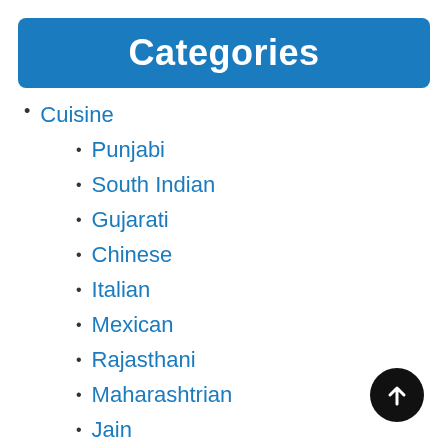Categories
Cuisine
Punjabi
South Indian
Gujarati
Chinese
Italian
Mexican
Rajasthani
Maharashtrian
Jain